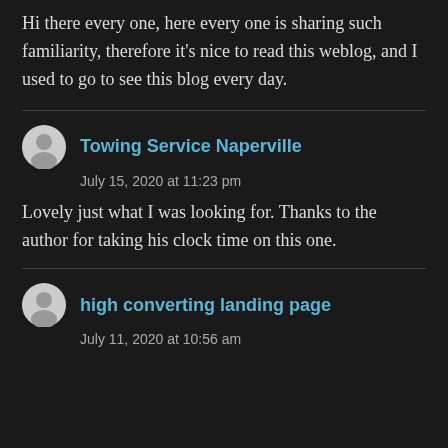Hi there every one, here every one is sharing such familiarity, therefore it's nice to read this weblog, and I used to go to see this blog every day.
Towing Service Naperville
July 15, 2020 at 11:23 pm
Lovely just what I was looking for. Thanks to the author for taking his clock time on this one.
high converting landing page
July 11, 2020 at 10:56 am